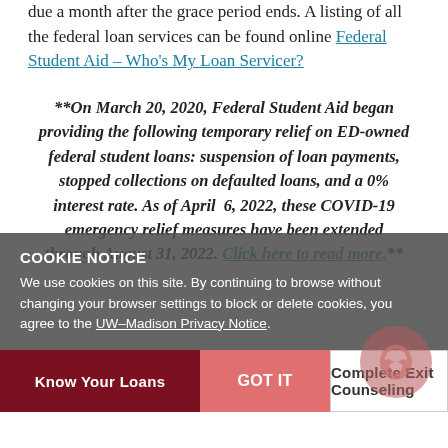due a month after the grace period ends. A listing of all the federal loan services can be found online Federal Student Aid – Who's My Loan Servicer?
**On March 20, 2020, Federal Student Aid began providing the following temporary relief on ED-owned federal student loans: suspension of loan payments, stopped collections on defaulted loans, and a 0% interest rate. As of April 6, 2022, these COVID-19 emergency relief measures have been extended through August 31, 2022. Click here to read more.**
COOKIE NOTICE
We use cookies on this site. By continuing to browse without changing your browser settings to block or delete cookies, you agree to the UW–Madison Privacy Notice.
Know Your Loans
GOT IT
Complete Exit Counseling